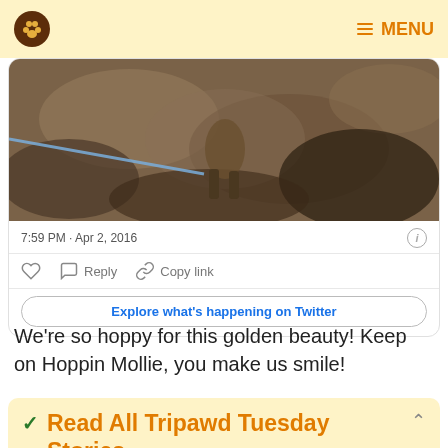Tripawd logo | MENU
[Figure (photo): Cropped photo showing an animal (dog) on brown dirt/ground, viewed from above, with a blue leash visible on the left side.]
7:59 PM · Apr 2, 2016
Reply   Copy link
Explore what's happening on Twitter
We're so hoppy for this golden beauty! Keep on Hoppin Mollie, you make us smile!
✓ Read All Tripawd Tuesday Stories